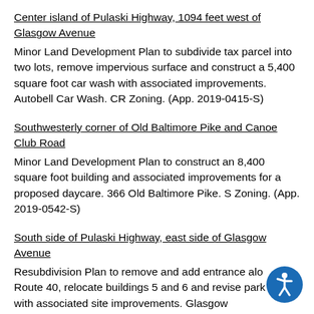Center island of Pulaski Highway, 1094 feet west of Glasgow Avenue
Minor Land Development Plan to subdivide tax parcel into two lots, remove impervious surface and construct a 5,400 square foot car wash with associated improvements. Autobell Car Wash. CR Zoning. (App. 2019-0415-S)
Southwesterly corner of Old Baltimore Pike and Canoe Club Road
Minor Land Development Plan to construct an 8,400 square foot building and associated improvements for a proposed daycare. 366 Old Baltimore Pike. S Zoning. (App. 2019-0542-S)
South side of Pulaski Highway, east side of Glasgow Avenue
Resubdivision Plan to remove and add entrance along Route 40, relocate buildings 5 and 6 and revise parking with associated site improvements. Glasgow